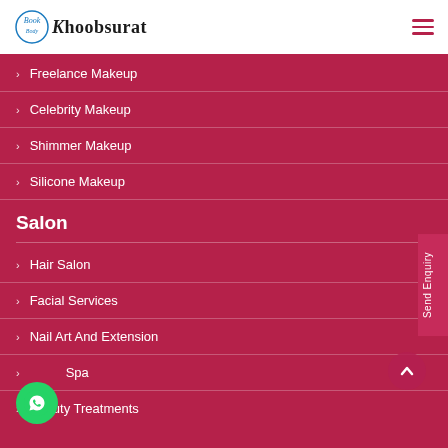Khoobsurat
Freelance Makeup
Celebrity Makeup
Shimmer Makeup
Silicone Makeup
Salon
Hair Salon
Facial Services
Nail Art And Extension
Spa
Beauty Treatments